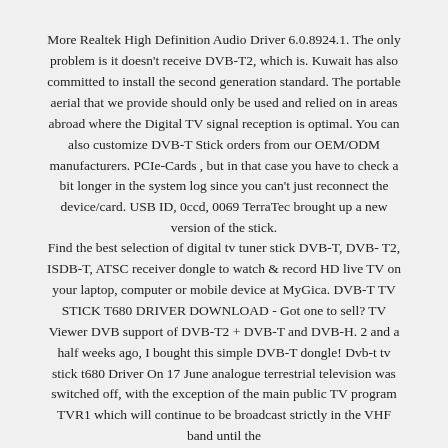More Realtek High Definition Audio Driver 6.0.8924.1. The only problem is it doesn't receive DVB-T2, which is. Kuwait has also committed to install the second generation standard. The portable aerial that we provide should only be used and relied on in areas abroad where the Digital TV signal reception is optimal. You can also customize DVB-T Stick orders from our OEM/ODM manufacturers. PCIe-Cards , but in that case you have to check a bit longer in the system log since you can't just reconnect the device/card. USB ID, 0ccd, 0069 TerraTec brought up a new version of the stick.
Find the best selection of digital tv tuner stick DVB-T, DVB-T2, ISDB-T, ATSC receiver dongle to watch & record HD live TV on your laptop, computer or mobile device at MyGica. DVB-T TV STICK T680 DRIVER DOWNLOAD - Got one to sell? TV Viewer DVB support of DVB-T2 + DVB-T and DVB-H. 2 and a half weeks ago, I bought this simple DVB-T dongle! Dvb-t tv stick t680 Driver On 17 June analogue terrestrial television was switched off, with the exception of the main public TV program TVR1 which will continue to be broadcast strictly in the VHF band until the